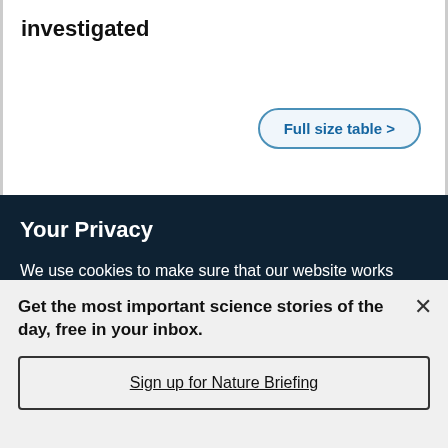investigated
Full size table >
Your Privacy
We use cookies to make sure that our website works properly, as well as some ‘optional’ cookies to personalise content and advertising, provide social media features and analyse how people use our site. By accepting some or all optional cookies you give consent to the processing of your personal data, including transfer to third parties, some in countries outside of the European Economic Area that do not offer the same data protection standards as the country where you live. You can decide which optional cookies to accept by clicking on ‘Manage Settings’, where you can
Get the most important science stories of the day, free in your inbox.
Sign up for Nature Briefing